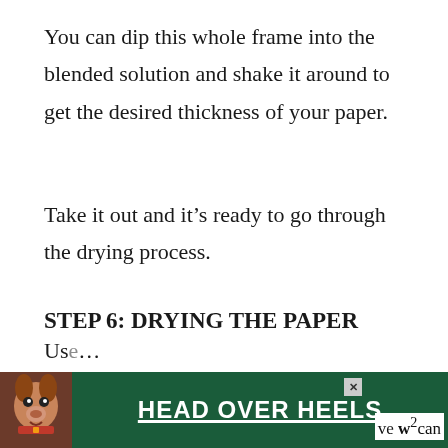You can dip this whole frame into the blended solution and shake it around to get the desired thickness of your paper.
Take it out and it’s ready to go through the drying process.
STEP 6: DRYING THE PAPER
Once you have pulled the frame from the water bath with the new paper sheet, you need to carefully blot the new paper to remove moisture.
Us… ve can
[Figure (other): Advertisement banner with a dog image and text HEAD OVER HEELS on a dark green background with a close button]